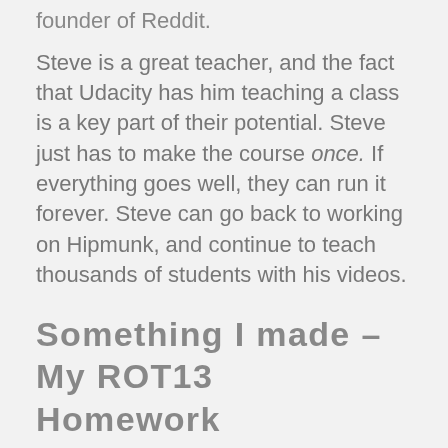founder of Reddit.
Steve is a great teacher, and the fact that Udacity has him teaching a class is a key part of their potential. Steve just has to make the course once. If everything goes well, they can run it forever. Steve can go back to working on Hipmunk, and continue to teach thousands of students with his videos.
Something I made – My ROT13 Homework Assignment
So, what have I learned so far? Judge for yourself. Here's a rot13 web page I made for this week's homework:
https://graeme.udacityappsnot.com/rot13...